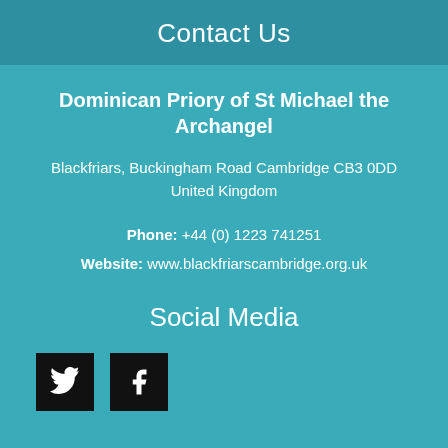Contact Us
Dominican Priory of St Michael the Archangel
Blackfriars, Buckingham Road Cambridge CB3 0DD United Kingdom
Phone: +44 (0) 1223 741251
Website: www.blackfriarscambridge.org.uk
Social Media
[Figure (illustration): Twitter and Facebook social media icon boxes (black squares with white bird and f logos)]